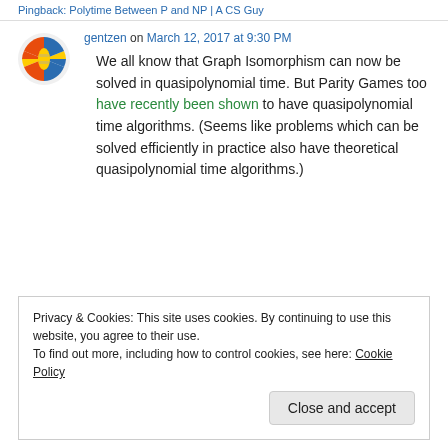Pingback: Polytime Between P and NP | A CS Guy
[Figure (logo): Colorful circular avatar icon with blue, yellow, red hues]
gentzen on March 12, 2017 at 9:30 PM
We all know that Graph Isomorphism can now be solved in quasipolynomial time. But Parity Games too have recently been shown to have quasipolynomial time algorithms. (Seems like problems which can be solved efficiently in practice also have theoretical quasipolynomial time algorithms.)
Privacy & Cookies: This site uses cookies. By continuing to use this website, you agree to their use.
To find out more, including how to control cookies, see here: Cookie Policy
Close and accept